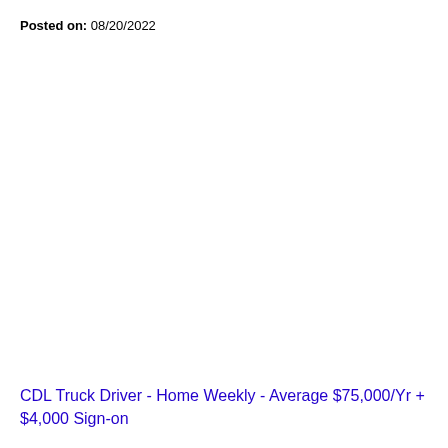Posted on: 08/20/2022
CDL Truck Driver - Home Weekly - Average $75,000/Yr + $4,000 Sign-on